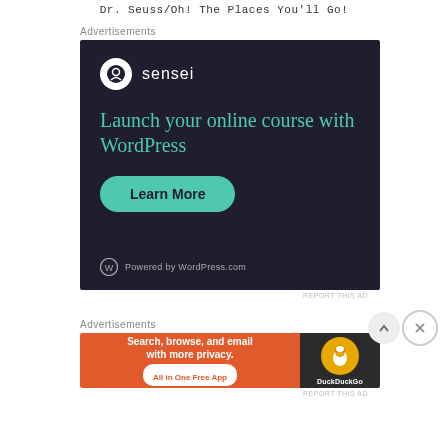Dr. Seuss/Oh! The Places You'll Go!
Advertisements
[Figure (screenshot): Sensei advertisement: dark navy background with sensei logo (white circle with tree icon), headline 'Launch your online course with WordPress' in teal serif font, green 'Learn More' button, and 'Powered by WordPress.com' footer text.]
REPORT THIS AD
Advertisements
[Figure (screenshot): DuckDuckGo advertisement: orange left panel reading 'Search, browse, and email with more privacy. All in One Free App', dark right panel with DuckDuckGo duck logo and brand name.]
REPORT THIS AD